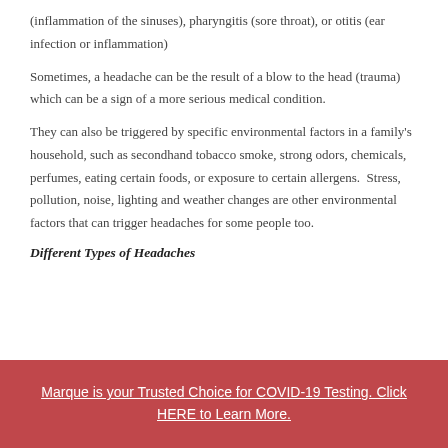(inflammation of the sinuses), pharyngitis (sore throat), or otitis (ear infection or inflammation)
Sometimes, a headache can be the result of a blow to the head (trauma) which can be a sign of a more serious medical condition.
They can also be triggered by specific environmental factors in a family's household, such as secondhand tobacco smoke, strong odors, chemicals, perfumes, eating certain foods, or exposure to certain allergens.  Stress, pollution, noise, lighting and weather changes are other environmental factors that can trigger headaches for some people too.
Different Types of Headaches
Marque is your Trusted Choice for COVID-19 Testing. Click HERE to Learn More.